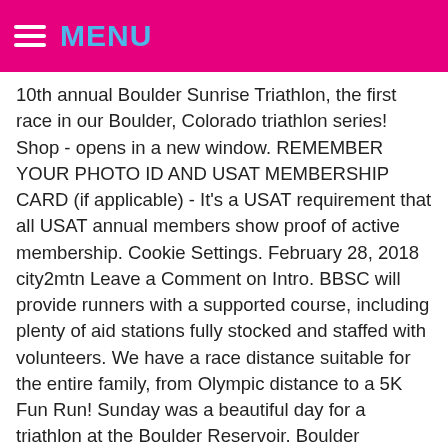≡ MENU
10th annual Boulder Sunrise Triathlon, the first race in our Boulder, Colorado triathlon series! Shop - opens in a new window. REMEMBER YOUR PHOTO ID AND USAT MEMBERSHIP CARD (if applicable) - It's a USAT requirement that all USAT annual members show proof of active membership. Cookie Settings. February 28, 2018 city2mtn Leave a Comment on Intro. BBSC will provide runners with a supported course, including plenty of aid stations fully stocked and staffed with volunteers. We have a race distance suitable for the entire family, from Olympic distance to a 5K Fun Run! Sunday was a beautiful day for a triathlon at the Boulder Reservoir. Boulder Sunrise. Updated race details will be confirmed by RaceThread staff and will be published if all information can be independently verified. Peerless Shower Trim Kit, Battletech A Game Of Armored Combat,